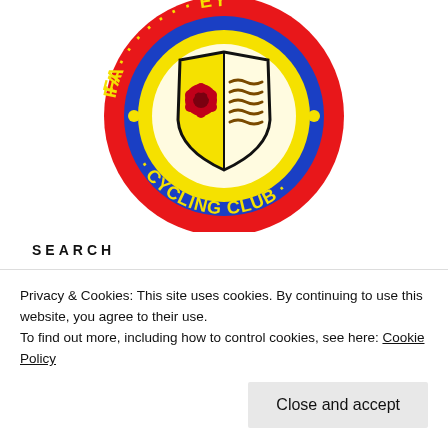[Figure (logo): Cycling club circular logo with red border, blue ring, yellow text reading 'CYCLING CLUB' and 'FA...EY', shield in center with red rose on yellow background and wavy brown lines on cream background]
SEARCH
Search ...
Privacy & Cookies: This site uses cookies. By continuing to use this website, you agree to their use.
To find out more, including how to control cookies, see here: Cookie Policy
Close and accept